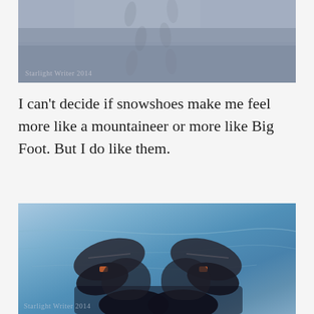[Figure (photo): Aerial/close-up view of snow tracks in winter landscape, bluish-grey tones. Watermark reads 'Starlight Writer 2014'.]
I can't decide if snowshoes make me feel more like a mountaineer or more like Big Foot. But I do like them.
[Figure (photo): Looking down at a person's feet wearing snowshoes on bright blue compressed snow/ice. Dark boots and snowshoe bindings visible. Watermark reads 'Starlight Writer 2014'.]